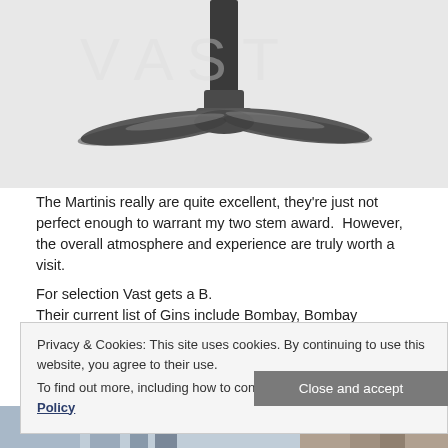[Figure (photo): Black and white close-up photograph of the base and stem of a martini glass from above, showing the cross-shaped base]
The Martinis really are quite excellent, they're just not perfect enough to warrant my two stem award.  However, the overall atmosphere and experience are truly worth a visit.
For selection Vast gets a B.
Their current list of Gins include Bombay, Bombay Sapphire, Tanqueray, Tanqueray 10, Hendricks, Beefeater, No. 209, Plymouth, Bols Genever, and Brokers.  These may change in time, of course.
Privacy & Cookies: This site uses cookies. By continuing to use this website, you agree to their use.
To find out more, including how to control cookies, see here: Cookie Policy
[Figure (photo): Partial view of bar or restaurant interior at the bottom of the page]